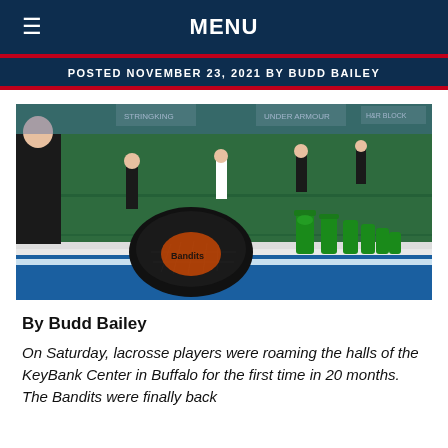MENU
POSTED NOVEMBER 23, 2021 BY BUDD BAILEY
[Figure (photo): Lacrosse players practicing on an indoor turf arena (KeyBank Center, Buffalo). In the foreground, a black lacrosse helmet with Bandits logo rests on a blue bench. Green Gatorade bottles line the bench. Players in black uniforms are visible on the green turf in the background, with stadium seating and sponsor banners including StringKing, Under Armour, and H&R Block.]
By Budd Bailey
On Saturday, lacrosse players were roaming the halls of the KeyBank Center in Buffalo for the first time in 20 months. The Bandits were finally back